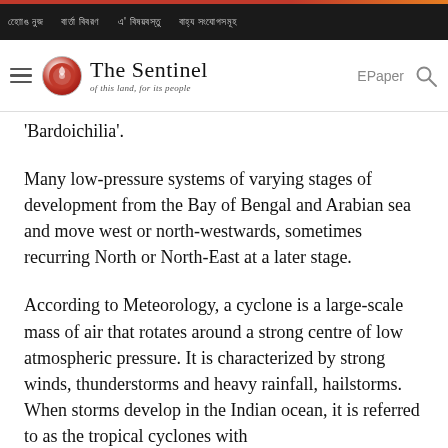[nav items in Assamese script] [The Sentinel - of this land, for its people] EPaper
'Bardoichila'.
Many low-pressure systems of varying stages of development from the Bay of Bengal and Arabian sea and move west or north-westwards, sometimes recurring North or North-East at a later stage.
According to Meteorology, a cyclone is a large-scale mass of air that rotates around a strong centre of low atmospheric pressure. It is characterized by strong winds, thunderstorms and heavy rainfall, hailstorms. When storms develop in the Indian ocean, it is referred to as the tropical cyclones with